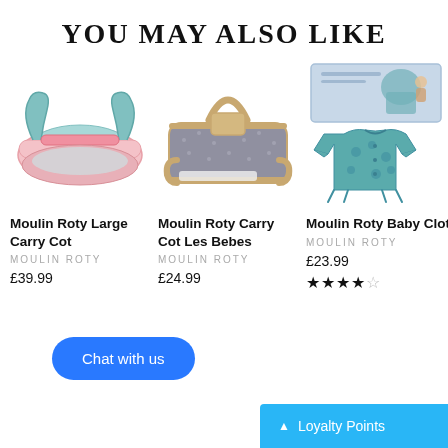YOU MAY ALSO LIKE
[Figure (photo): Moulin Roty Large Carry Cot - pink and teal fabric baby carry cot]
Moulin Roty Large Carry Cot
MOULIN ROTY
£39.99
[Figure (photo): Moulin Roty Carry Cot Les Bebes - gray and tan baby carry cot with handle]
Moulin Roty Carry Cot Les Bebes
MOULIN ROTY
£24.99
[Figure (photo): Moulin Roty Baby Clothes Set Les Bebes - teal onesie with bear pattern and gift box]
Moulin Roty Baby Clothes Set Le...
MOULIN ROTY
£23.99
★★★★☆ (4 out of 5 stars)
Chat with us
▲ Loyalty Points